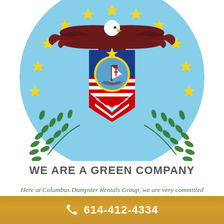[Figure (logo): City of Columbus seal/logo — circular badge with light blue background, ring of yellow stars, eagle with spread wings at top, shield with American flag stripes and a sailing ship (Santa Maria) in center medallion, green laurel branches at bottom]
WE ARE A GREEN COMPANY
Here at Columbus Dumpster Rentals Group, we are very committed
614-412-4334